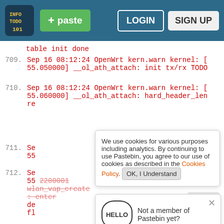Pastebin navigation bar with logo, paste button, login and sign up buttons
table init done
709.  Sep 16 08:12:24 OpenWrt kern.warn kernel: [55.050000] __ol_ath_attach: init tx/rx TODO
710.  Sep 16 08:12:24 OpenWrt kern.warn kernel: [55.060000] __ol_ath_attach: hard_header_len re
We use cookies for various purposes including analytics. By continuing to use Pastebin, you agree to our use of cookies as described in the Cookies Policy. OK, I Understand
711.  Se 55
712.  Se 55 2200001 wlan_vap_create : enter de fl
Not a member of Pastebin yet? Sign Up, it unlocks many cool features!
713.  Sep 16 08:12:24 OpenWrt kern.warn kernel: [55.240000] wlan_vap_create : exit. devhandle=0x862b0380, opmode=IEEE80211_M_HOSTAP, flags=0x1.
714.  Sep 16 08:12:24 OpenWrt kern.err kernel: [